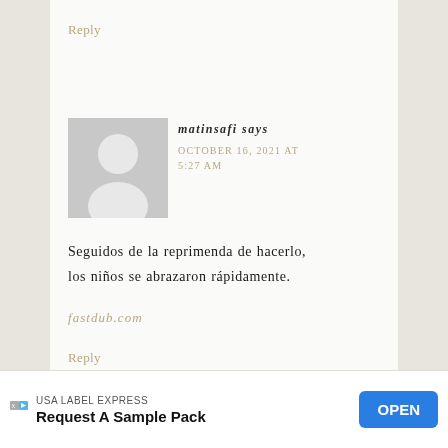Reply
[Figure (illustration): Generic grey avatar placeholder image showing a silhouette of a person (head and shoulders) on a light grey square background]
matinsafi says
OCTOBER 16, 2021 AT 5:27 AM
Seguidos de la reprimenda de hacerlo, los niños se abrazaron rápidamente.
fastdub.com
Reply
USA LABEL EXPRESS
Request A Sample Pack
OPEN